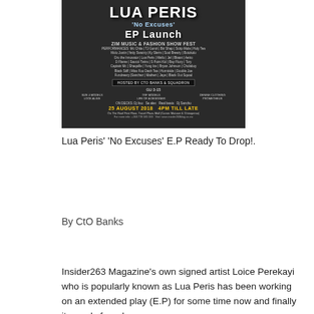[Figure (illustration): Lua Peris 'No Excuses' EP Launch event poster — ZIM Music & Fashion Show Fest. Dark background with event details including performers, date (25 August 2018, 4PM Till Late), venue (On The Roof First Floor, Travel Plaza Mall, Corner Mutowe & Chinoperso), hosted by CtO Banks & Squadron.]
Lua Peris' 'No Excuses' E.P Ready To Drop!.
By CtO Banks
Insider263 Magazine's own signed artist Loice Perekayi who is popularly known as Lua Peris has been working on an extended play (E.P) for some time now and finally its ready for release.